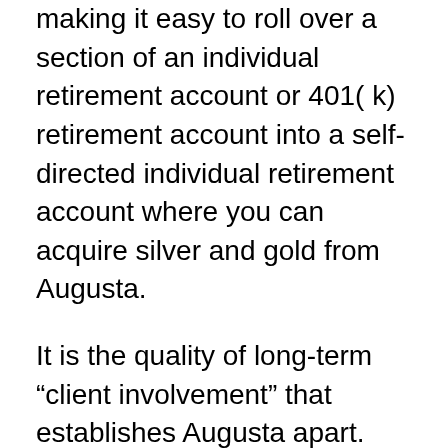making it easy to roll over a section of an individual retirement account or 401( k) retirement account into a self-directed individual retirement account where you can acquire silver and gold from Augusta.
It is the quality of long-term “client involvement” that establishes Augusta apart. Clients are not left by themselves to manage whatever with a custodian after a purchase is full. Augusta takes disappointment out of the process by acting as a partner from the beginning and also with the life of the account– very various from lots of silver and gold companies that act just as vendors of the metals. Augusta cares for most of the documentation for clients at the time of acquisition and also as a recurring solution,